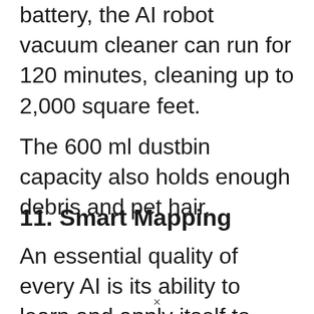battery, the AI robot vacuum cleaner can run for 120 minutes, cleaning up to 2,000 square feet.
The 600 ml dustbin capacity also holds enough debris and pet hair.
11. Smart Mapping
An essential quality of every AI is its ability to learn and apply itself to make notable improvements
×